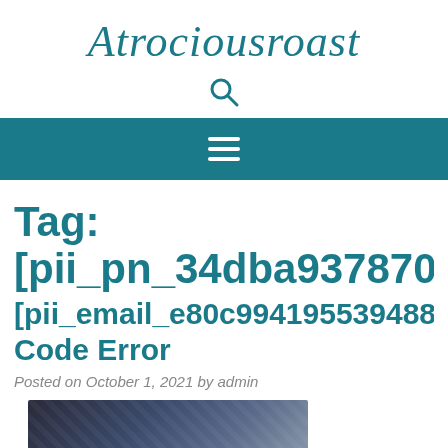Atrociousroast
[Figure (other): Search icon (magnifying glass)]
[Figure (other): Navigation hamburger menu icon (three horizontal lines) on teal background bar]
Tag: [pii_pn_34dba9378705aaaa18
[pii_email_e80c99419553948887a Code Error
Posted on October 1, 2021 by admin
[Figure (photo): Partial thumbnail image showing a dark keyboard/computer scene]